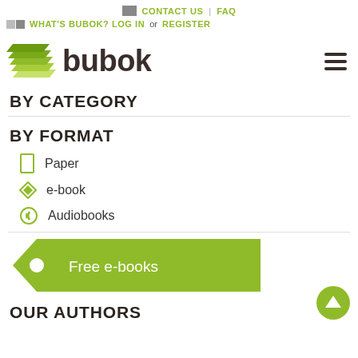CONTACT US | FAQ
WHAT'S BUBOK? LOG IN or REGISTER
[Figure (logo): Bubok logo: green stacked pages icon with 'bubok' wordmark in dark brown]
BY CATEGORY
BY FORMAT
Paper
e-book
Audiobooks
[Figure (other): Green tag-shaped button labeled 'Free e-books']
OUR AUTHORS